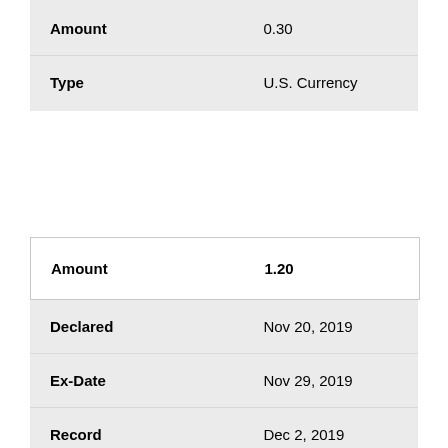| Field | Value |
| --- | --- |
| Amount | 0.30 |
| Type | U.S. Currency |
| Field | Value |
| --- | --- |
| Amount | 1.20 |
| Field | Value |
| --- | --- |
| Declared | Nov 20, 2019 |
| Ex-Date | Nov 29, 2019 |
| Record | Dec 2, 2019 |
| Payable | Dec 20, 2019 |
| Amount | 0.29 |
| Type | U.S. Currency |